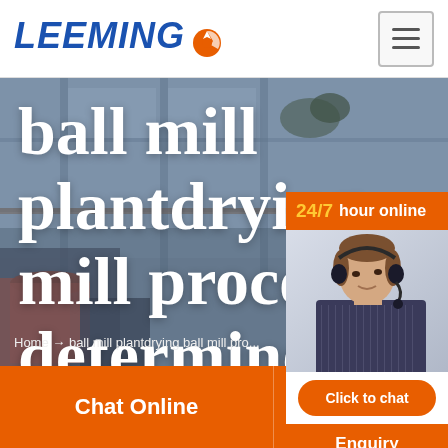LEEMING
[Figure (screenshot): Industrial facility background image with blue-gray tones, showing multi-story building interior with railings and machinery]
ball mill plantdrying mill process determine
[Figure (photo): Customer service representative wearing headset, chat widget with '24/7 hour online', Click to chat button, and Enquiry button]
Home → ball mill plantdrying ball mill pro...
Chat Online | cywaitml @gmail.com